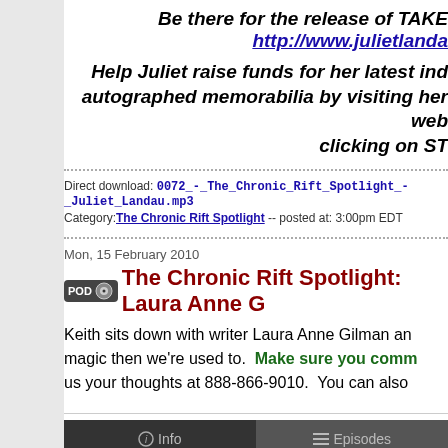Be there for the release of TAKE http://www.julietlanda...
Help Juliet raise funds for her latest ind... autographed memorabilia by visiting her web... clicking on ST...
Direct download: 0072_-_The_Chronic_Rift_Spotlight_-_Juliet_Landau.mp3
Category: The Chronic Rift Spotlight -- posted at: 3:00pm EDT
Mon, 15 February 2010
The Chronic Rift Spotlight: Laura Anne G...
Keith sits down with writer Laura Anne Gilman an... magic then we're used to. Make sure you comm... us your thoughts at 888-866-9010. You can also...
[Figure (screenshot): Media player interface with Info and Episodes tabs, and a circular logo on dark background]